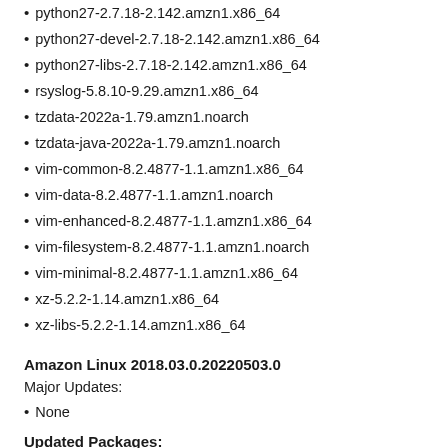python27-2.7.18-2.142.amzn1.x86_64
python27-devel-2.7.18-2.142.amzn1.x86_64
python27-libs-2.7.18-2.142.amzn1.x86_64
rsyslog-5.8.10-9.29.amzn1.x86_64
tzdata-2022a-1.79.amzn1.noarch
tzdata-java-2022a-1.79.amzn1.noarch
vim-common-8.2.4877-1.1.amzn1.x86_64
vim-data-8.2.4877-1.1.amzn1.noarch
vim-enhanced-8.2.4877-1.1.amzn1.x86_64
vim-filesystem-8.2.4877-1.1.amzn1.noarch
vim-minimal-8.2.4877-1.1.amzn1.x86_64
xz-5.2.2-1.14.amzn1.x86_64
xz-libs-5.2.2-1.14.amzn1.x86_64
Amazon Linux 2018.03.0.20220503.0
Major Updates:
None
Updated Packages: